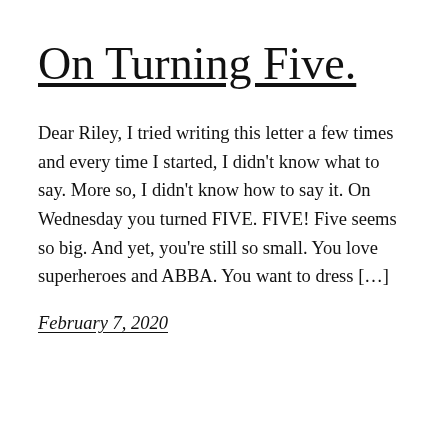On Turning Five.
Dear Riley, I tried writing this letter a few times and every time I started, I didn't know what to say. More so, I didn't know how to say it. On Wednesday you turned FIVE. FIVE! Five seems so big. And yet, you're still so small. You love superheroes and ABBA. You want to dress […]
February 7, 2020